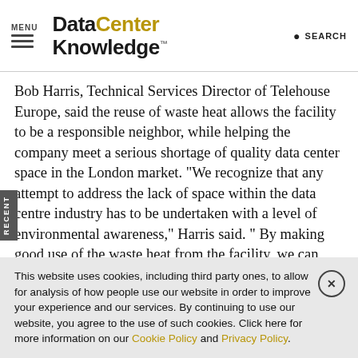MENU | Data Center Knowledge. | SEARCH
Bob Harris, Technical Services Director of Telehouse Europe, said the reuse of waste heat allows the facility to be a responsible neighbor, while helping the company meet a serious shortage of quality data center space in the London market. "We recognize that any attempt to address the lack of space within the data centre industry has to be undertaken with a level of environmental awareness," Harris said. " By making good use of the waste heat from the facility, we can minimise the environmental impact of Telehouse West and provide a
This website uses cookies, including third party ones, to allow for analysis of how people use our website in order to improve your experience and our services. By continuing to use our website, you agree to the use of such cookies. Click here for more information on our Cookie Policy and Privacy Policy.